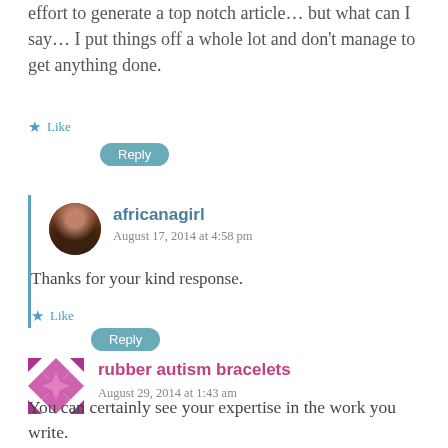effort to generate a top notch article... but what can I say... I put things off a whole lot and don't manage to get anything done.
Like
Reply
africanagirl
August 17, 2014 at 4:58 pm
Thanks for your kind response.
Like
Reply
rubber autism bracelets
August 29, 2014 at 1:43 am
You can certainly see your expertise in the work you write.